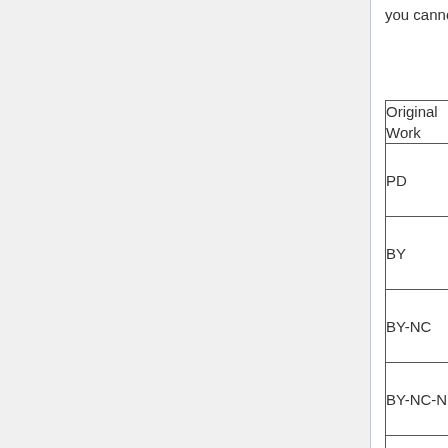you cannot change the license applicable to the original work itself.
| Original Work | Commercial Collection | Non-Coll |
| --- | --- | --- |
| PD | green | green |
| BY | green | green |
| BY-NC | white | green |
| BY-NC-ND | white | green |
| BY-NC-SA | white | green |
| BY-ND | green | green |
| BY-SA | green | green |